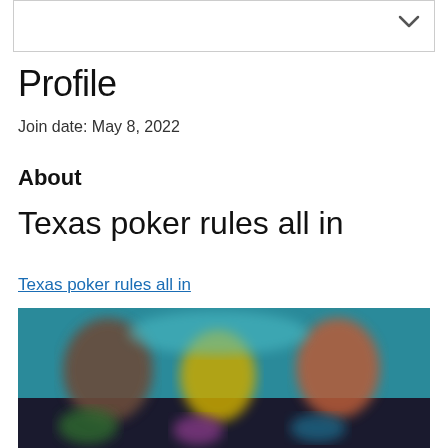[Figure (other): Top bordered box with a chevron/dropdown arrow icon in the upper right corner]
Profile
Join date: May 8, 2022
About
Texas poker rules all in
Texas poker rules all in (hyperlink)
[Figure (screenshot): Blurred screenshot showing a poker/gaming interface with colorful animated characters on a teal/dark background]